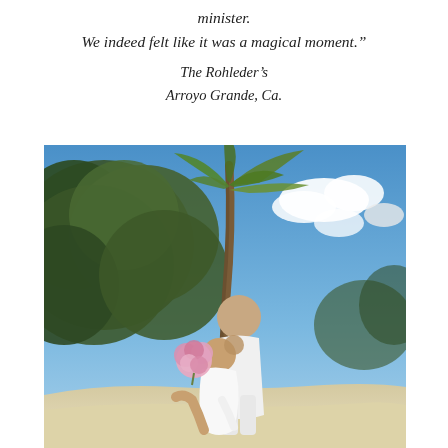minister.
We indeed felt like it was a magical moment."
The Rohleder's
Arroyo Grande, Ca.
[Figure (photo): A couple sharing a romantic dip kiss on a sandy beach with lush tropical palm trees and a bright blue sky with clouds in the background. The bride wears white and holds a pink rose bouquet; the groom is dressed in white.]